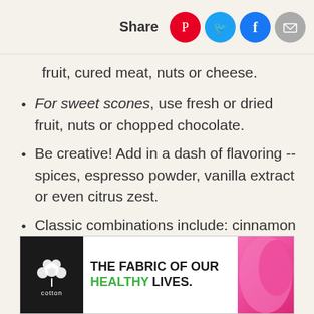Share
fruit, cured meat, nuts or cheese.
For sweet scones, use fresh or dried fruit, nuts or chopped chocolate.
Be creative! Add in a dash of flavoring -- spices, espresso powder, vanilla extract or even citrus zest.
Classic combinations include: cinnamon and chocolate, apricot and thyme, raspberry and vanilla
[Figure (infographic): Cotton brand advertisement: THE FABRIC OF OUR HEALTHY LIVES.]